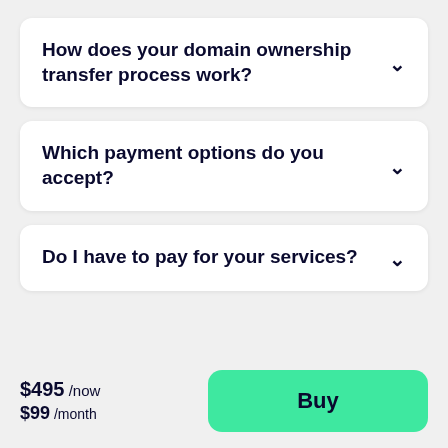How does your domain ownership transfer process work?
Which payment options do you accept?
Do I have to pay for your services?
$495 /now $99 /month
Buy